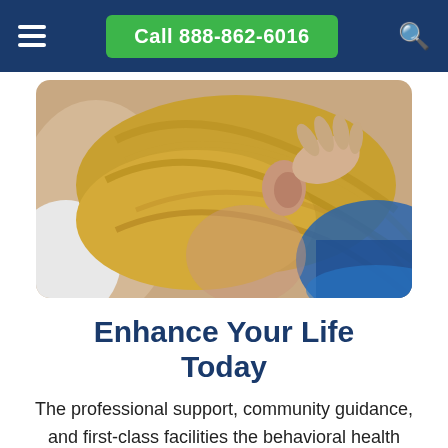Call 888-862-6016
[Figure (photo): Close-up photo of a person lying face-down with blonde hair, receiving a massage or chiropractic treatment, with a hand near their neck/ear area. Blue surface visible.]
Enhance Your Life Today
The professional support, community guidance, and first-class facilities the behavioral health centers in Furman,